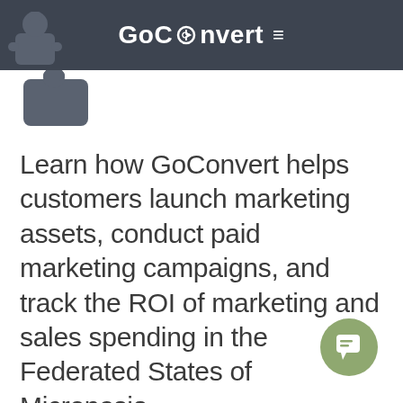GoConvert ≡
[Figure (logo): GoConvert user/puzzle piece icon in dark header area, partially visible]
Learn how GoConvert helps customers launch marketing assets, conduct paid marketing campaigns, and track the ROI of marketing and sales spending in the Federated States of Micronesia.
[Figure (illustration): Green circular chat button with speech bubble icon in bottom right corner]